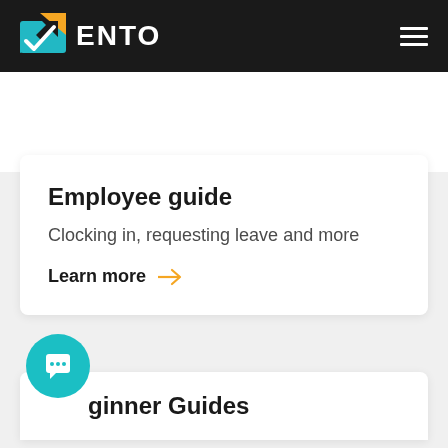ENTO
Employee guide
Clocking in, requesting leave and more
Learn more →
...ginner Guides